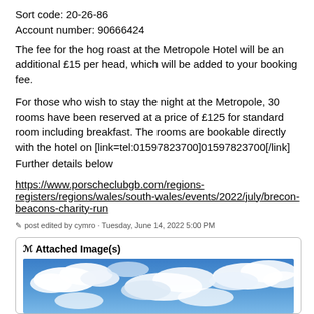Sort code: 20-26-86
Account number: 90666424
The fee for the hog roast at the Metropole Hotel will be an additional £15 per head, which will be added to your booking fee.
For those who wish to stay the night at the Metropole, 30 rooms have been reserved at a price of £125 for standard room including breakfast. The rooms are bookable directly with the hotel on [link=tel:01597823700]01597823700[/link] Further details below
https://www.porscheclubgb.com/regions-registers/regions/wales/south-wales/events/2022/july/brecon-beacons-charity-run
post edited by cymro - Tuesday, June 14, 2022 5:00 PM
Attached Image(s)
[Figure (photo): Sky with blue background and white clouds]